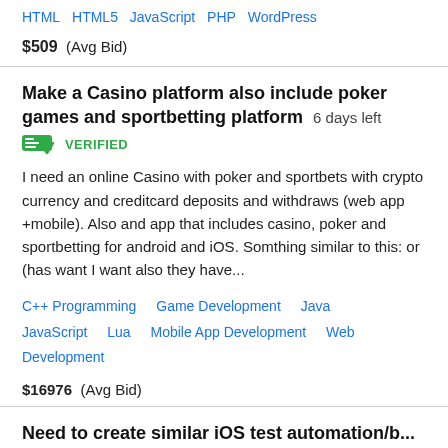HTML  HTML5  JavaScript  PHP  WordPress
$509  (Avg Bid)
Make a Casino platform also include poker games and sportbetting platform  6 days left
VERIFIED
I need an online Casino with poker and sportbets with crypto currency and creditcard deposits and withdraws (web app +mobile). Also and app that includes casino, poker and sportbetting for android and iOS. Somthing similar to this: or (has want I want also they have...
C++ Programming  Game Development  Java  JavaScript  Lua  Mobile App Development  Web Development
$16976  (Avg Bid)
Need to create similar iOS test automation/b...